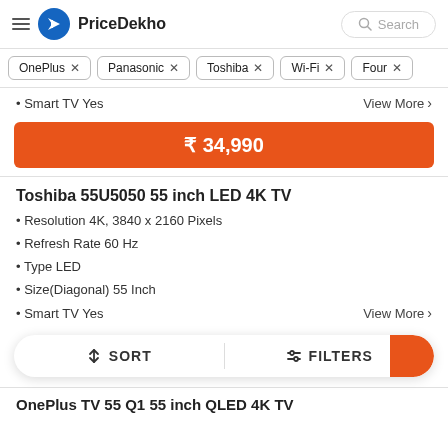PriceDekho
OnePlus ×
Panasonic ×
Toshiba ×
Wi-Fi ×
Four ×
• Smart TV Yes   View More >
₹ 34,990
Toshiba 55U5050 55 inch LED 4K TV
• Resolution 4K, 3840 x 2160 Pixels
• Refresh Rate 60 Hz
• Type LED
• Size(Diagonal) 55 Inch
• Smart TV Yes   View More >
↕ SORT   ⧨ FILTERS
OnePlus TV 55 Q1 55 inch QLED 4K TV